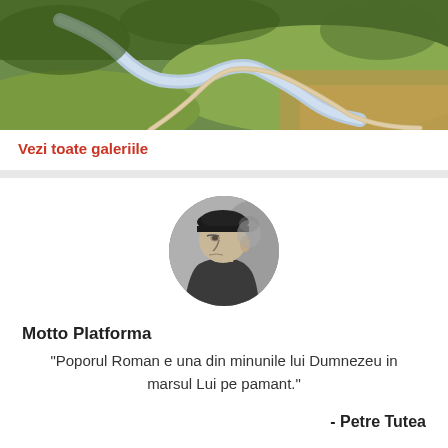[Figure (photo): Aerial landscape photo showing a winding river through green fields and forests, viewed from above.]
Vezi toate galeriile
[Figure (photo): Black and white circular portrait photo of an elderly man wearing a dark beret, shown in profile/three-quarter view.]
Motto Platforma
"Poporul Roman e una din minunile lui Dumnezeu in marsul Lui pe pamant."
- Petre Tutea